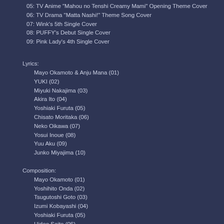05: TV Anime "Mahou no Tenshi Creamy Mami" Opening Theme Cover
06: TV Drama "Matta Nashi!" Theme Song Cover
07: Wink's 5th Single Cover
08: PUFFY's Debut Single Cover
09: Pink Lady's 4th Single Cover
Lyrics:
Mayo Okamoto & Anju Mana (01)
YUKI (02)
Miyuki Nakajima (03)
Akira Ito (04)
Yoshiaki Furuta (05)
Chisato Moritaka (06)
Neko Oikawa (07)
Yosui Inoue (08)
Yuu Aku (09)
Junko Miyajima (10)
Composition:
Mayo Okamoto (01)
Yoshihito Onda (02)
Tsugutoshi Goto (03)
Izumi Kobayashi (04)
Yoshiaki Furuta (05)
Hideo Saito (06)
Masaya Ozeki (07)
Tamio Okuda (08)
Shunichi Tokura (09)
Koji Makaino (10)
Arrangement:
Masaya Suzuki (10)
Vocals:
Manaka Takane (CV: Saori Hayami): 01, 04, 07, 08, 10
Ringo Kobayakawa (CV: Sakura Tange): 02, 05, 08, 09, 10
Nene Anegasaki (CV: Yuko Minaguchi): 03, 06, 07, 09, 10